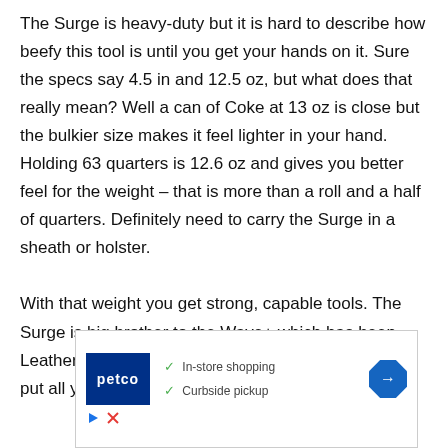The Surge is heavy-duty but it is hard to describe how beefy this tool is until you get your hands on it. Sure the specs say 4.5 in and 12.5 oz, but what does that really mean? Well a can of Coke at 13 oz is close but the bulkier size makes it feel lighter in your hand. Holding 63 quarters is 12.6 oz and gives you better feel for the weight – that is more than a roll and a half of quarters. Definitely need to carry the Surge in a sheath or holster.

With that weight you get strong, capable tools. The Surge is big brother to the Wave+ which has been Leatherman's best selling model for decade. You can put all your
[Figure (other): Advertisement for Petco showing logo, in-store shopping and curbside pickup checkmarks, and a navigation arrow icon]